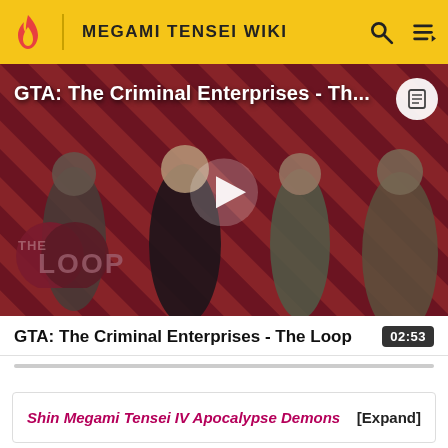MEGAMI TENSEI WIKI
[Figure (screenshot): Video thumbnail for GTA: The Criminal Enterprises - The Loop, showing game characters on a red and dark diagonal striped background with The Loop logo, and a play button overlay.]
GTA: The Criminal Enterprises - The Loop   02:53
Shin Megami Tensei IV Apocalypse Demons   [Expand]